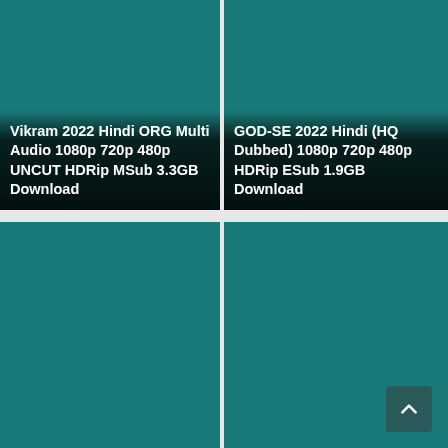[Figure (screenshot): Teal/dark-teal movie card with text overlay: Vikram 2022 Hindi ORG Multi Audio 1080p 720p 480p UNCUT HDRip MSub 3.3GB Download]
Vikram 2022 Hindi ORG Multi Audio 1080p 720p 480p UNCUT HDRip MSub 3.3GB Download
[Figure (screenshot): Teal/dark-teal movie card with text overlay: GOD-SE 2022 Hindi (HQ Dubbed) 1080p 720p 480p HDRip ESub 1.9GB Download]
GOD-SE 2022 Hindi (HQ Dubbed) 1080p 720p 480p HDRip ESub 1.9GB Download
[Figure (screenshot): Teal movie card thumbnail with no visible text overlay, bottom-left position]
[Figure (screenshot): Teal movie card thumbnail with a back-to-top button (chevron/arrow up icon) in the bottom-right corner, bottom-right position]